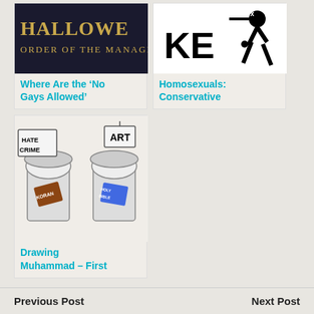[Figure (illustration): Book or banner image with text 'HALLOWE...' and 'ORDER OF THE MANAGEME...' on dark background]
Where Are the ‘No Gays Allowed’
[Figure (illustration): Black and white graphic showing a person being struck, with partial text 'KE']
Homosexuals: Conservative
[Figure (illustration): Cartoon showing two toilets labeled 'HATE CRIME' and 'ART', with 'KORAN' and 'HOLY BIBLE' books in them]
Drawing Muhammad – First
Previous Post    Next Post